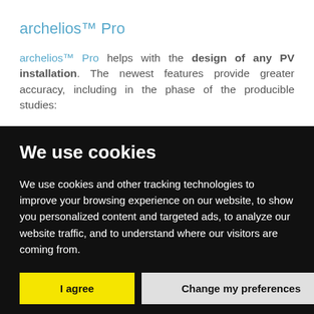archelios™ Pro
archelios™ Pro helps with the design of any PV installation. The newest features provide greater accuracy, including in the phase of the producible studies:
We use cookies
We use cookies and other tracking technologies to improve your browsing experience on our website, to show you personalized content and targeted ads, to analyze our website traffic, and to understand where our visitors are coming from.
I agree | Change my preferences